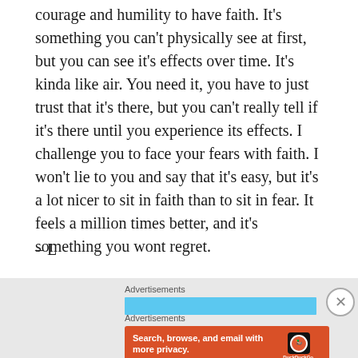courage and humility to have faith. It's something you can't physically see at first, but you can see it's effects over time. It's kinda like air. You need it, you have to just trust that it's there, but you can't really tell if it's there until you experience its effects. I challenge you to face your fears with faith. I won't lie to you and say that it's easy, but it's a lot nicer to sit in faith than to sit in fear. It feels a million times better, and it's something you wont regret.
– L
[Figure (other): Advertisement section with a light blue horizontal bar labeled 'Advertisements' above it, and a close (X) button to the right.]
[Figure (other): DuckDuckGo advertisement banner on orange background with text 'Search, browse, and email with more privacy.' and 'All in One Free App' button, with phone graphic showing DuckDuckGo logo.]